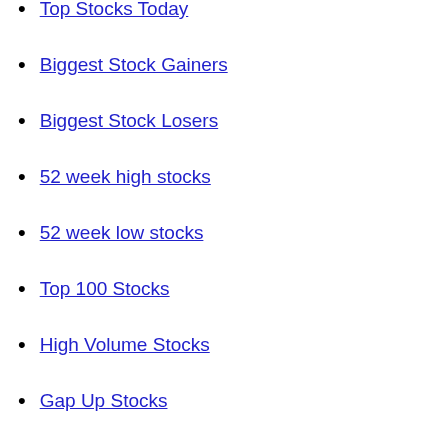Top Stocks Today
Biggest Stock Gainers
Biggest Stock Losers
52 week high stocks
52 week low stocks
Top 100 Stocks
High Volume Stocks
Gap Up Stocks
Gap Down Stocks
Unusual Volume Stocks